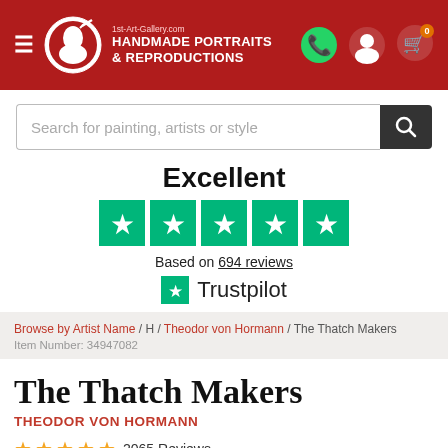[Figure (logo): 1st-Art-Gallery.com header with hamburger menu, circular logo with woman silhouette, brand name HANDMADE PORTRAITS & REPRODUCTIONS in white, and icons for WhatsApp, user account, and shopping cart with 0 badge on dark red background]
Search for painting, artists or style
Excellent
[Figure (infographic): Five green Trustpilot star rating boxes, each with a white star]
Based on 694 reviews
[Figure (logo): Trustpilot logo: green star icon followed by Trustpilot text]
Browse by Artist Name / H / Theodor von Hormann / The Thatch Makers
Item Number: 34947082
The Thatch Makers
THEODOR VON HORMANN
2065 Reviews